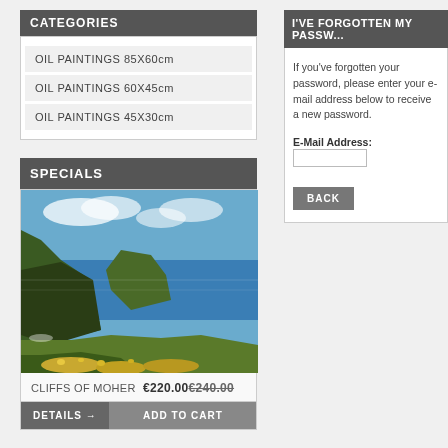CATEGORIES
OIL PAINTINGS 85X60cm
OIL PAINTINGS 60X45cm
OIL PAINTINGS 45X30cm
SPECIALS
[Figure (photo): Oil painting of Cliffs of Moher with blue sky, green cliffs, ocean, and wildflowers in foreground]
CLIFFS OF MOHER €220.00 €240.00
DETAILS → ADD TO CART
I'VE FORGOTTEN MY PASSW...
If you've forgotten your password, please enter your e-mail address below to receive a new password.
E-Mail Address:
BACK